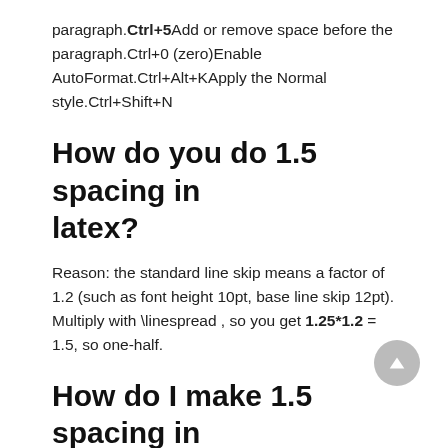paragraph.Ctrl+5Add or remove space before the paragraph.Ctrl+0 (zero)Enable AutoFormat.Ctrl+Alt+KApply the Normal style.Ctrl+Shift+N
How do you do 1.5 spacing in latex?
Reason: the standard line skip means a factor of 1.2 (such as font height 10pt, base line skip 12pt). Multiply with \linespread , so you get 1.25*1.2 = 1.5, so one-half.
How do I make 1.5 spacing in InDesign?
Thus, 12/14.4 (point size/leading) default of Adobe